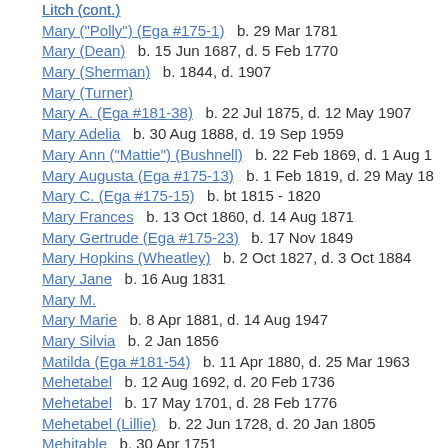Litch (cont.)
Mary ("Polly") (Ega #175-1)  b. 29 Mar 1781
Mary (Dean)  b. 15 Jun 1687, d. 5 Feb 1770
Mary (Sherman)  b. 1844, d. 1907
Mary (Turner)
Mary A. (Ega #181-38)  b. 22 Jul 1875, d. 12 May 1907
Mary Adelia  b. 30 Aug 1888, d. 19 Sep 1959
Mary Ann ("Mattie") (Bushnell)  b. 22 Feb 1869, d. 1 Aug 1...
Mary Augusta (Ega #175-13)  b. 1 Feb 1819, d. 29 May 18...
Mary C. (Ega #175-15)  b. bt 1815 - 1820
Mary Frances  b. 13 Oct 1860, d. 14 Aug 1871
Mary Gertrude (Ega #175-23)  b. 17 Nov 1849
Mary Hopkins (Wheatley)  b. 2 Oct 1827, d. 3 Oct 1884
Mary Jane  b. 16 Aug 1831
Mary M.
Mary Marie  b. 8 Apr 1881, d. 14 Aug 1947
Mary Silvia  b. 2 Jan 1856
Matilda (Ega #181-54)  b. 11 Apr 1880, d. 25 Mar 1963
Mehetabel  b. 12 Aug 1692, d. 20 Feb 1736
Mehetabel  b. 17 May 1701, d. 28 Feb 1776
Mehetabel (Lillie)  b. 22 Jun 1728, d. 20 Jan 1805
Mehitable  b. 30 Apr 1751
Mercy Ann  b. 30 Jan 1829
Mertie  b. 1872
Minerva A.  b. 2 Aug 1840, d. 18 Apr 1902
Minnie May (Ega #181-112)  b. 24 Sep 1890